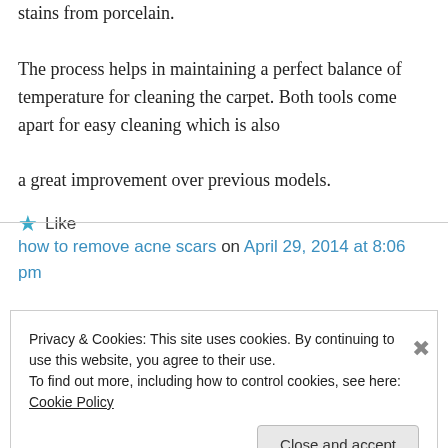stains from porcelain. The process helps in maintaining a perfect balance of temperature for cleaning the carpet. Both tools come apart for easy cleaning which is also a great improvement over previous models.
★ Like
how to remove acne scars on April 29, 2014 at 8:06 pm
Privacy & Cookies: This site uses cookies. By continuing to use this website, you agree to their use. To find out more, including how to control cookies, see here: Cookie Policy
Close and accept